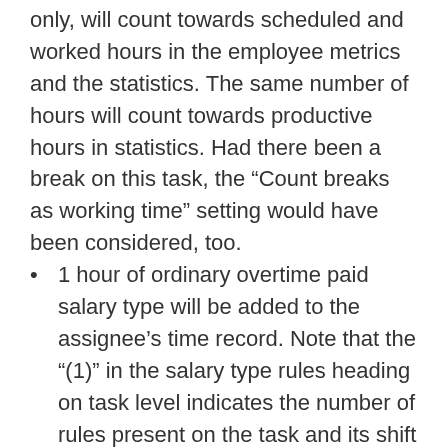only, will count towards scheduled and worked hours in the employee metrics and the statistics. The same number of hours will count towards productive hours in statistics. Had there been a break on this task, the “Count breaks as working time” setting would have been considered, too.
1 hour of ordinary overtime paid salary type will be added to the assignee’s time record. Note that the “(1)” in the salary type rules heading on task level indicates the number of rules present on the task and its shift type.
In this case, the “On call shift” and “Stand by shift setting” are both